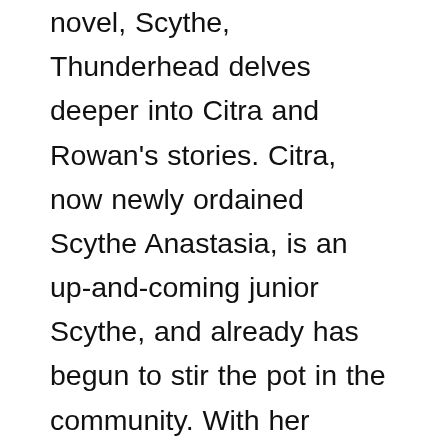novel, Scythe, Thunderhead delves deeper into Citra and Rowan's stories. Citra, now newly ordained Scythe Anastasia, is an up-and-coming junior Scythe, and already has begun to stir the pot in the community. With her unique gleanings, and progressive thoughts and opinions, Citra becomes a highly respected and wise Scythe, a Scythe who even the Thunderhead recognizes of value. Rowan on the other hand, after escaping the Scythedom, becomes the feared Scythe Lucifer, a black-cloaked vigilante Scythe who gleans Scythes that are driven by corruption. An equally as fast-paced and page-turning novel as the first book in the trilogy, Thunderhead was a fantastic installment to the series. I especially loved how this novel dived deeper into the inter-workings of the Thunderhead, and it's thoughts and opinions. I found it